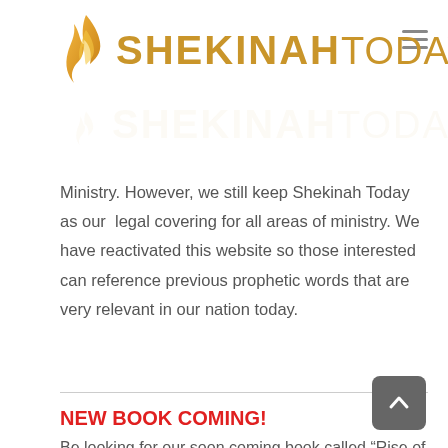[Figure (logo): Shekinah Today logo with flame icon and gold text, with reflection below]
Ministry. However, we still keep Shekinah Today as our  legal covering for all areas of ministry. We have reactivated this website so those interested can reference previous prophetic words that are very relevant in our nation today.
NEW BOOK COMING!
Be looking for our soon coming book called “Rise of the Glorious Church!” — a life transforming message to help raise up the end-time Glorious Church to shine bright and impact nations (Isa.